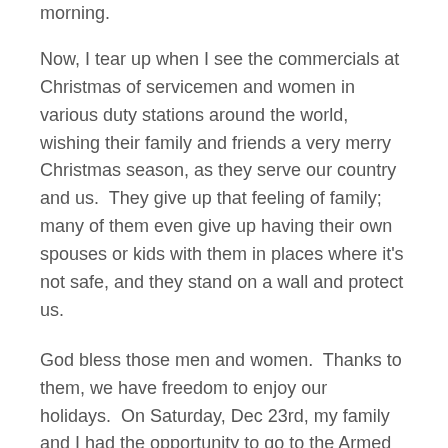morning.
Now, I tear up when I see the commercials at Christmas of servicemen and women in various duty stations around the world, wishing their family and friends a very merry Christmas season, as they serve our country and us.  They give up that feeling of family; many of them even give up having their own spouses or kids with them in places where it's not safe, and they stand on a wall and protect us.
God bless those men and women.  Thanks to them, we have freedom to enjoy our holidays.  On Saturday, Dec 23rd, my family and I had the opportunity to go to the Armed Forces Bowl in Fort Worth, where Army played San Diego State in football.  I enjoyed the game…but there were tears and gestures of appreciation, as soldiers were recognized for their actions and for who they are.